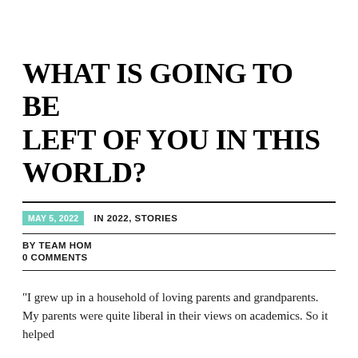WHAT IS GOING TO BE LEFT OF YOU IN THIS WORLD?
MAY 5, 2022  IN 2022, STORIES
BY TEAM HOM
0 COMMENTS
"I grew up in a household of loving parents and grandparents. My parents were quite liberal in their views on academics. So it helped